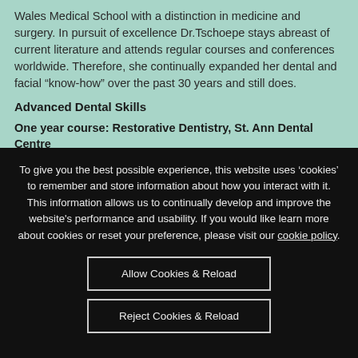Wales Medical School with a distinction in medicine and surgery. In pursuit of excellence Dr.Tschoepe stays abreast of current literature and attends regular courses and conferences worldwide. Therefore, she continually expanded her dental and facial “know-how” over the past 30 years and still does.
Advanced Dental Skills
One year course: Restorative Dentistry, St. Ann Dental Centre
One year course: Advanced Practical Dentistry, St Annie Dental
To give you the best possible experience, this website uses ‘cookies’ to remember and store information about how you interact with it. This information allows us to continually develop and improve the website's performance and usability. If you would like learn more about cookies or reset your preference, please visit our cookie policy.
Allow Cookies & Reload
Reject Cookies & Reload